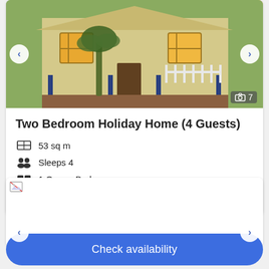[Figure (photo): Exterior photo of a two-bedroom holiday home with wooden deck, palm trees, and veranda with white railings. A photo count badge shows 7 images.]
Two Bedroom Holiday Home (4 Guests)
53 sq m
Sleeps 4
1 Queen Bed
More details >
[Figure (photo): Second listing photo (broken/not loaded image placeholder)]
Check availability